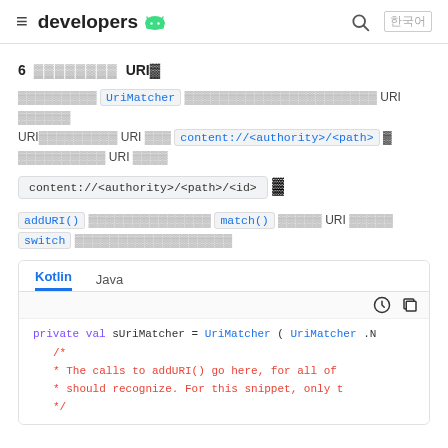≡ developers 🤖 🔍 한국어
6 URI 정의하기
클래스는 UriMatcher 를 사용하여 URI 패턴을 URI패턴과 URI 형식 content://<authority>/<path> 에서 URI 형식
content://<authority>/<path>/<id>
addURI() 메서드를 사용하여 match() 메서드로 URI 매칭을 switch 문에서 처리할 수 있습니다.
[Figure (screenshot): Code panel with Kotlin/Java tabs showing private val sUriMatcher = UriMatcher(UriMatcher.N with comment block /* The calls to addURI() go here, for all of * should recognize. For this snippet, only t */]